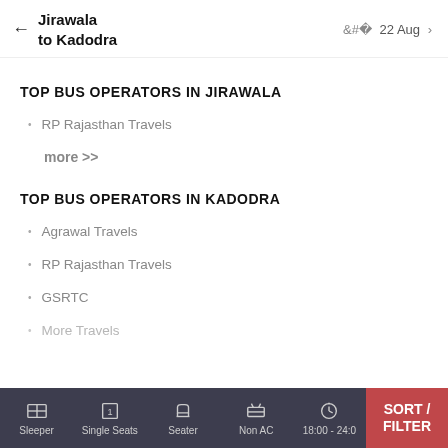Jirawala to Kadodra  ← | 22 Aug →
TOP BUS OPERATORS IN JIRAWALA
RP Rajasthan Travels
more >>
TOP BUS OPERATORS IN KADODRA
Agrawal Travels
RP Rajasthan Travels
GSRTC
More Travels
Sleeper | Single Seats | Seater | Non AC | 18:00 - 24:0 | SORT / FILTER